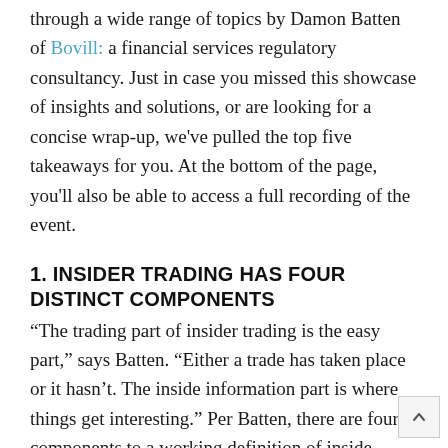through a wide range of topics by Damon Batten of Bovill: a financial services regulatory consultancy. Just in case you missed this showcase of insights and solutions, or are looking for a concise wrap-up, we've pulled the top five takeaways for you. At the bottom of the page, you'll also be able to access a full recording of the event.
1. INSIDER TRADING HAS FOUR DISTINCT COMPONENTS
“The trading part of insider trading is the easy part,” says Batten. “Either a trade has taken place or it hasn’t. The inside information part is where things get interesting.” Per Batten, there are four components to a working definition of inside information. First, the